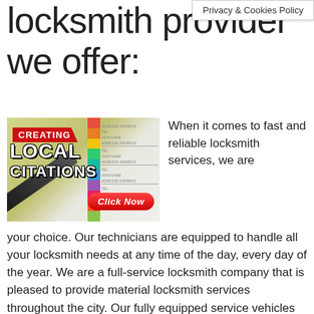Privacy & Cookies Policy
locksmith provider we offer:
[Figure (illustration): Promotional image for 'Creating Local Citations' showing an address book with colorful tabs and a pen, with a red 'Click Now' button overlay]
When it comes to fast and reliable locksmith services, we are your choice. Our technicians are equipped to handle all your locksmith needs at any time of the day, every day of the year. We are a full-service locksmith company that is pleased to provide material locksmith services throughout the city. Our fully equipped service vehicles and technicians are